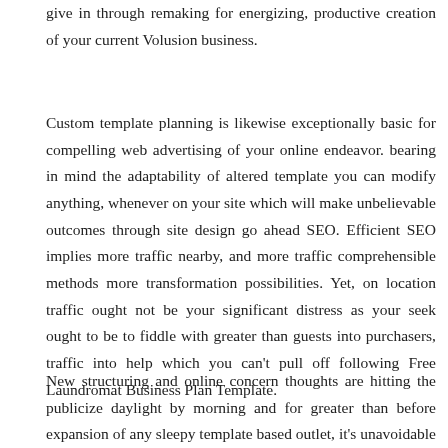give in through remaking for energizing, productive creation of your current Volusion business.
Custom template planning is likewise exceptionally basic for compelling web advertising of your online endeavor. bearing in mind the adaptability of altered template you can modify anything, whenever on your site which will make unbelievable outcomes through site design go ahead SEO. Efficient SEO implies more traffic nearby, and more traffic comprehensible methods more transformation possibilities. Yet, on location traffic ought not be your significant distress as your seek ought to be to fiddle with greater than guests into purchasers, traffic into help which you can't pull off following Free Laundromat Business Plan Template.
New structuring and online concern thoughts are hitting the publicize daylight by morning and for greater than before expansion of any sleepy template based outlet, it's unavoidable to keep refreshed subsequently them. Custom template structuring